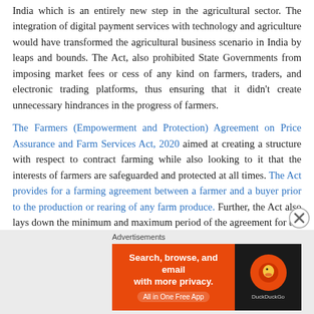India which is an entirely new step in the agricultural sector. The integration of digital payment services with technology and agriculture would have transformed the agricultural business scenario in India by leaps and bounds. The Act, also prohibited State Governments from imposing market fees or cess of any kind on farmers, traders, and electronic trading platforms, thus ensuring that it didn't create unnecessary hindrances in the progress of farmers.
The Farmers (Empowerment and Protection) Agreement on Price Assurance and Farm Services Act, 2020 aimed at creating a structure with respect to contract farming while also looking to it that the interests of farmers are safeguarded and protected at all times. The Act provides for a farming agreement between a farmer and a buyer prior to the production or rearing of any farm produce. Further, the Act also lays down the minimum and maximum period of the agreement for the ease of the farmers as well as the other party to the
[Figure (other): DuckDuckGo advertisement banner: orange left section with text 'Search, browse, and email with more privacy. All in One Free App' and dark right section with DuckDuckGo logo]